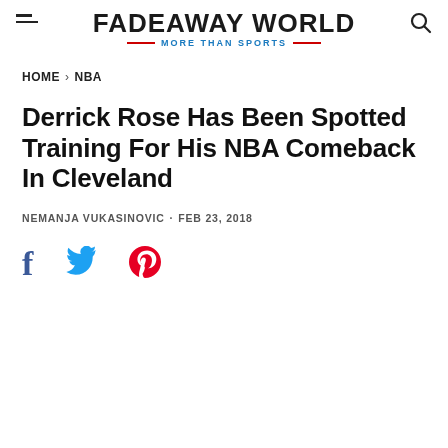FADEAWAY WORLD — MORE THAN SPORTS
HOME › NBA
Derrick Rose Has Been Spotted Training For His NBA Comeback In Cleveland
NEMANJA VUKASINOVIC · FEB 23, 2018
[Figure (illustration): Social share icons: Facebook (f), Twitter (bird), Pinterest (P)]